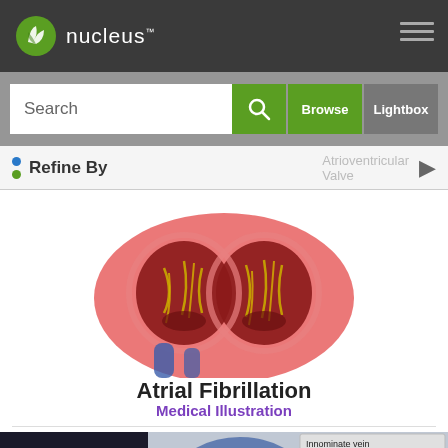nucleus
Search | Browse | Lightbox
Refine By
[Figure (illustration): Medical illustration of atrial fibrillation showing cross-section of a heart with visible chambers and yellow fiber-like structures (chordae tendineae) on a white background]
Atrial Fibrillation
Medical Illustration
[Figure (illustration): Medical illustration showing veins near the clavicle area, partially visible, with labels: Innominate vein (Brachiocephalic vein), Axillary vein, Superior]